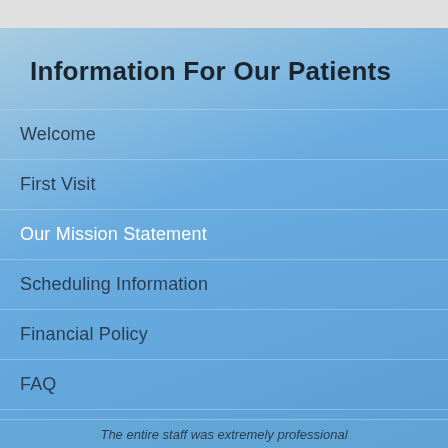Information For Our Patients
Welcome
First Visit
Our Mission Statement
Scheduling Information
Financial Policy
FAQ
The entire staff was extremely professional